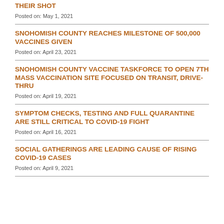THEIR SHOT
Posted on: May 1, 2021
SNOHOMISH COUNTY REACHES MILESTONE OF 500,000 VACCINES GIVEN
Posted on: April 23, 2021
SNOHOMISH COUNTY VACCINE TASKFORCE TO OPEN 7TH MASS VACCINATION SITE FOCUSED ON TRANSIT, DRIVE-THRU
Posted on: April 19, 2021
SYMPTOM CHECKS, TESTING AND FULL QUARANTINE ARE STILL CRITICAL TO COVID-19 FIGHT
Posted on: April 16, 2021
SOCIAL GATHERINGS ARE LEADING CAUSE OF RISING COVID-19 CASES
Posted on: April 9, 2021